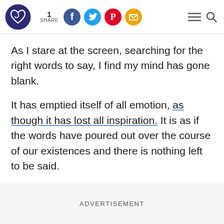1 SHARE [social icons: Facebook, Twitter, Pinterest, Email] [menu icon] [search icon]
As I stare at the screen, searching for the right words to say, I find my mind has gone blank.
It has emptied itself of all emotion, as though it has lost all inspiration. It is as if the words have poured out over the course of our existences and there is nothing left to be said.
ADVERTISEMENT